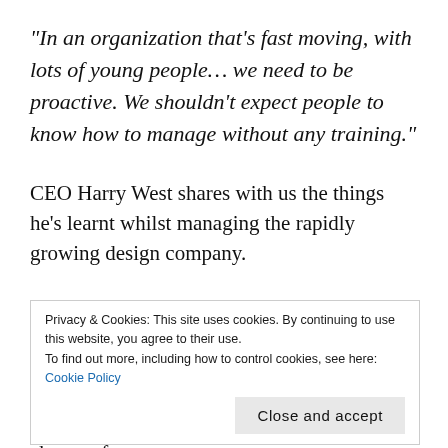“In an organization that’s fast moving, with lots of young people… we need to be proactive. We shouldn’t expect people to know how to manage without any training.”
CEO Harry West shares with us the things he’s learnt whilst managing the rapidly growing design company.
Historically, he shares, during the company’s earlier days, when potential future leaders were trained, there was a lack of knowledge and structure in place.
Privacy & Cookies: This site uses cookies. By continuing to use this website, you agree to their use.
To find out more, including how to control cookies, see here: Cookie Policy
Close and accept
addressed before young leaders are put in charge of